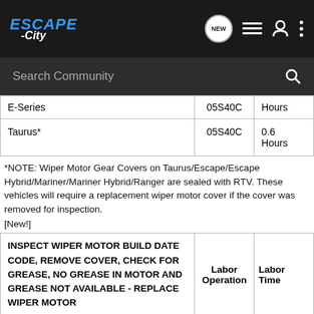ESCAPE-City navigation bar with logo, NEW, list, user, and menu icons
Search Community [search bar]
| Vehicle | Labor Operation | Labor Time |
| --- | --- | --- |
| E-Series | 05S40C | Hours |
| Taurus* | 05S40C | 0.6 Hours |
*NOTE: Wiper Motor Gear Covers on Taurus/Escape/Escape Hybrid/Mariner/Mariner Hybrid/Ranger are sealed with RTV. These vehicles will require a replacement wiper motor cover if the cover was removed for inspection.
[New!]
| INSPECT WIPER MOTOR BUILD DATE CODE, REMOVE COVER, CHECK FOR GREASE, NO GREASE IN MOTOR AND GREASE NOT AVAILABLE - REPLACE WIPER MOTOR | Labor Operation | Labor Time |
| --- | --- | --- |
| Lincoln Mark LT and F-150 | 05S40D** | 0.6 |